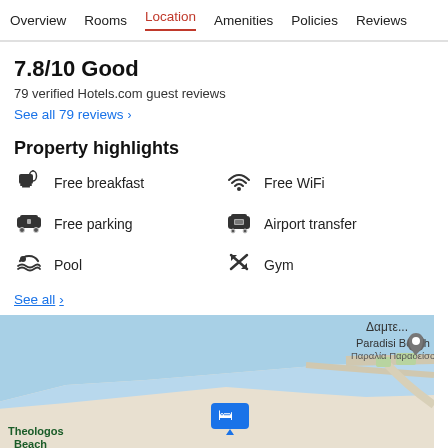Overview  Rooms  Location  Amenities  Policies  Reviews
7.8/10 Good
79 verified Hotels.com guest reviews
See all 79 reviews  >
Property highlights
Free breakfast
Free WiFi
Free parking
Airport transfer
Pool
Gym
See all >
[Figure (map): Google Maps showing hotel location near Paradisi Beach (Παραλία Παραδείσοι), with a blue hotel marker and nearby area including Theologos Beach]